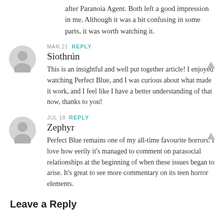after Paranoia Agent. Both left a good impression in me. Although it was a bit confusing in some parts, it was worth watching it.
MAR 21 REPLY
Siothrún
This is an insightful and well put together article! I enjoyed watching Perfect Blue, and I was curious about what made it work, and I feel like I have a better understanding of that now, thanks to you!
JUL 18 REPLY
Zephyr
Perfect Blue remains one of my all-time favourite horrors. I love how eerily it's managed to comment on parasocial relationships at the beginning of when these issues began to arise. It's great to see more commentary on its teen horror elements.
Leave a Reply